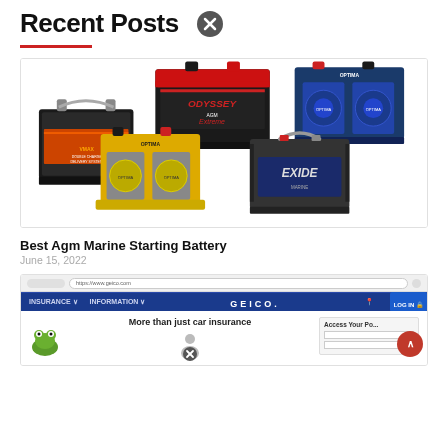Recent Posts
[Figure (photo): Five car/marine batteries on white background: VMAX (black with orange label), Odyssey Extreme (black with red/silver label), Optima Blue Top (blue), Optima Yellow Top (yellow/grey), and Exide (dark grey with blue label)]
Best Agm Marine Starting Battery
June 15, 2022
[Figure (screenshot): Screenshot of GEICO website homepage showing navy blue header with GEICO logo and navigation, tagline 'More than just car insurance', green gecko mascot, and Access Your Policy panel on the right]